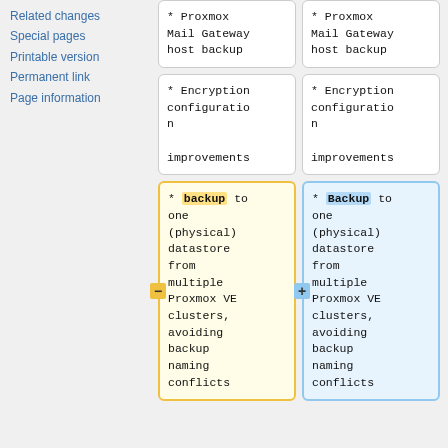Related changes
Special pages
Printable version
Permanent link
Page information
* Proxmox Mail Gateway host backup
* Proxmox Mail Gateway host backup
* Encryption configuration improvements
* Encryption configuration improvements
* backup to one (physical) datastore from multiple Proxmox VE clusters, avoiding backup naming conflicts
* Backup to one (physical) datastore from multiple Proxmox VE clusters, avoiding backup naming conflicts